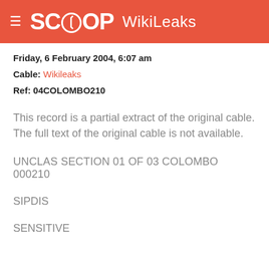SCOOP WikiLeaks
Friday, 6 February 2004, 6:07 am
Cable: Wikileaks
Ref: 04COLOMBO210
This record is a partial extract of the original cable. The full text of the original cable is not available.
UNCLAS SECTION 01 OF 03 COLOMBO 000210
SIPDIS
SENSITIVE